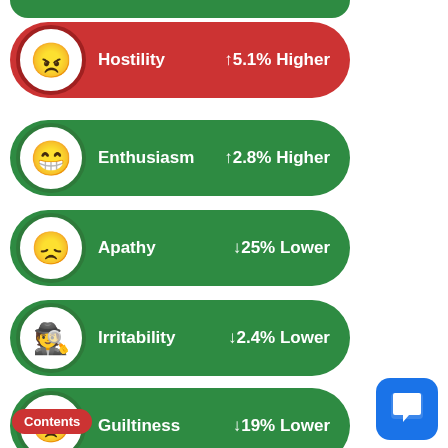[Figure (infographic): Emotion/symptom metrics shown as pill-shaped cards with emoji icons and percentage changes. Cards: Hostility +5.1% Higher (red), Enthusiasm +2.8% Higher (green), Apathy ↓25% Lower (green), Irritability ↓2.4% Lower (green), Guiltiness ↓19% Lower (green), Nausea Severity ↓21% Lower (green).]